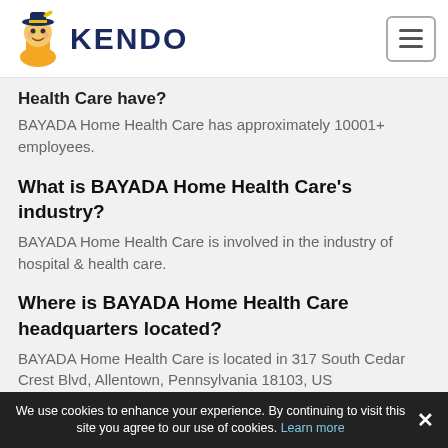KENDO
Health Care have?
BAYADA Home Health Care has approximately 10001+ employees.
What is BAYADA Home Health Care's industry?
BAYADA Home Health Care is involved in the industry of hospital & health care.
Where is BAYADA Home Health Care headquarters located?
BAYADA Home Health Care is located in 317 South Cedar Crest Blvd, Allentown, Pennsylvania 18103, US
What is the website of BAYADA Home Health
We use cookies to enhance your experience. By continuing to visit this site you agree to our use of cookies. Learn more